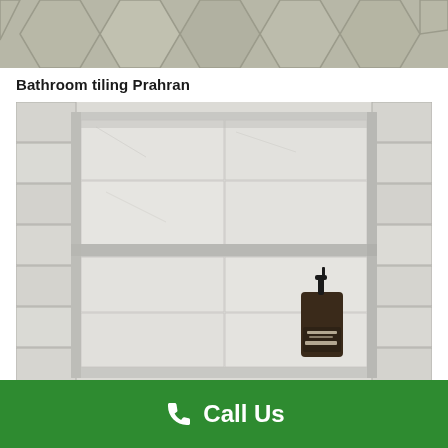[Figure (photo): Top portion of a bathroom floor with marble/stone hexagon tiles in grey tones, partially cropped at the top of the page.]
Bathroom tiling Prahran
[Figure (photo): A recessed shower niche with two shelves tiled in white marble subway tiles with grey veining. A dark amber glass hand wash soap dispenser bottle sits on the lower shelf. The surrounding wall is also tiled in matching marble subway tiles.]
Call Us